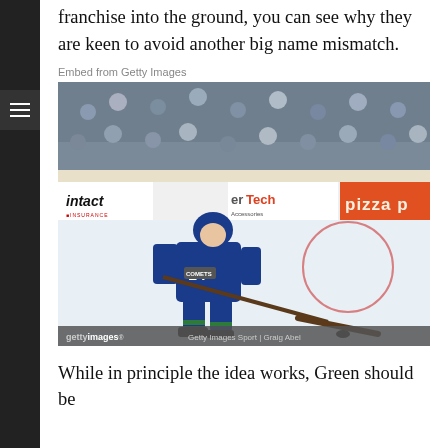franchise into the ground, you can see why they are keen to avoid another big name mismatch.
Embed from Getty Images
[Figure (photo): Hockey player in blue Utica Comets jersey number 14 skating with a stick on ice rink, with crowd and rink boards in background showing 'intact INSURANCE', 'erTech Accessories', and 'pizza p' advertisements. Getty Images watermark visible.]
While in principle the idea works, Green should be